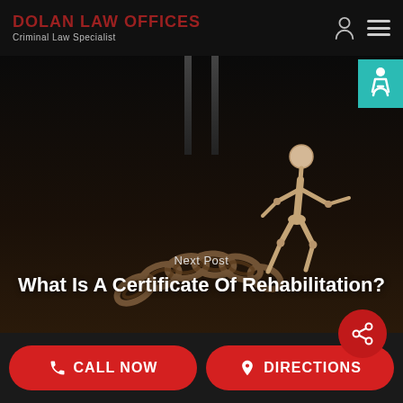DOLAN LAW OFFICES - Criminal Law Specialist
[Figure (photo): A wooden articulated figure breaking free from heavy chains on a dark background with prison bars visible above. Used as hero image for blog post about Certificate of Rehabilitation.]
Next Post
What Is A Certificate Of Rehabilitation?
[Figure (other): Share icon button (red circle with share symbol)]
[Figure (other): Accessibility icon (teal square with wheelchair symbol)]
CALL NOW
DIRECTIONS